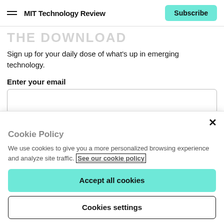MIT Technology Review | Subscribe
The Download
Sign up for your daily dose of what's up in emerging technology.
Enter your email
Sign up
Cookie Policy
We use cookies to give you a more personalized browsing experience and analyze site traffic. See our cookie policy
Accept all cookies
Cookies settings